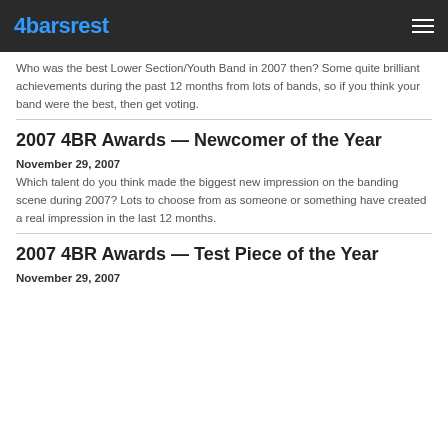4barsrest
Who was the best Lower Section/Youth Band in 2007 then? Some quite brilliant achievements during the past 12 months from lots of bands, so if you think your band were the best, then get voting.
2007 4BR Awards — Newcomer of the Year
November 29, 2007
Which talent do you think made the biggest new impression on the banding scene during 2007? Lots to choose from as someone or something have created a real impression in the last 12 months.
2007 4BR Awards — Test Piece of the Year
November 29, 2007